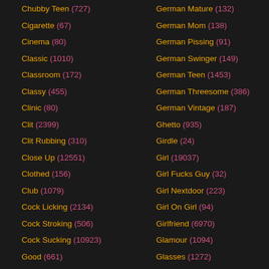Chubby Teen (727)
Cigarette (67)
Cinema (80)
Classic (1010)
Classroom (172)
Classy (455)
Clinic (80)
Clit (2399)
Clit Rubbing (310)
Close Up (12551)
Clothed (156)
Club (1079)
Cock Licking (2134)
Cock Stroking (506)
Cock Sucking (10923)
Good (661)
German Mature (132)
German Mom (138)
German Pissing (91)
German Swinger (149)
German Teen (1453)
German Threesome (386)
German Vintage (187)
Ghetto (935)
Girdle (24)
Girl (19037)
Girl Fucks Guy (32)
Girl Nextdoor (223)
Girl On Girl (94)
Girlfriend (6970)
Glamour (1094)
Glasses (1272)